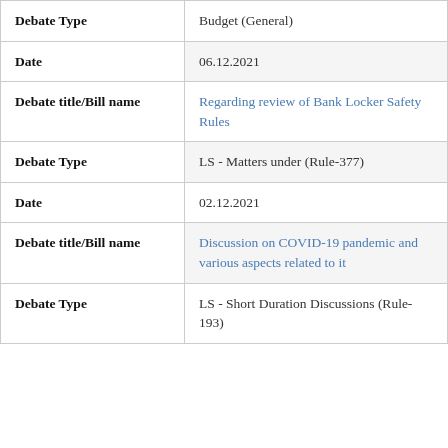| Field | Value |
| --- | --- |
| Debate Type | Budget (General) |
| Date | 06.12.2021 |
| Debate title/Bill name | Regarding review of Bank Locker Safety Rules |
| Debate Type | LS - Matters under (Rule-377) |
| Date | 02.12.2021 |
| Debate title/Bill name | Discussion on COVID-19 pandemic and various aspects related to it |
| Debate Type | LS - Short Duration Discussions (Rule-193) |